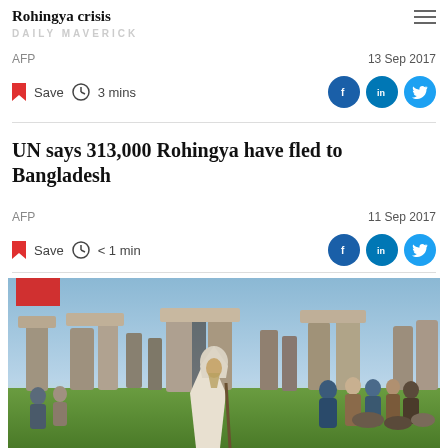DAILY MAVERICK
Rohingya crisis
AFP
13 Sep 2017
Save  3 mins
UN says 313,000 Rohingya have fled to Bangladesh
AFP
11 Sep 2017
Save  < 1 min
[Figure (photo): Photo of Stonehenge with a robed figure in the foreground and crowd of people in the background]